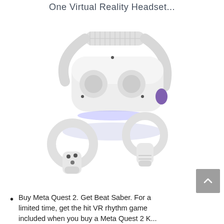One Virtual Reality Headset...
[Figure (photo): Meta Quest 2 VR headset shown from a three-quarter angle with two white Touch controllers below it. The headset is white with a black band, purple interior, and glowing blue light underneath. The controllers are white circular ring-style with buttons.]
Buy Meta Quest 2. Get Beat Saber. For a limited time, get the hit VR rhythm game included when you buy a Meta Quest 2 K...